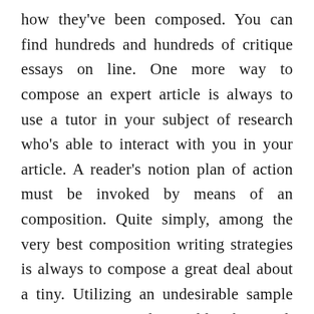how they've been composed. You can find hundreds and hundreds of critique essays on line. One more way to compose an expert article is always to use a tutor in your subject of research who's able to interact with you in your article. A reader's notion plan of action must be invoked by means of an composition. Quite simply, among the very best composition writing strategies is always to compose a great deal about a tiny. Utilizing an undesirable sample on your own article wouldn't be good. As we understand, a terrific paper needs a excellent thesis.